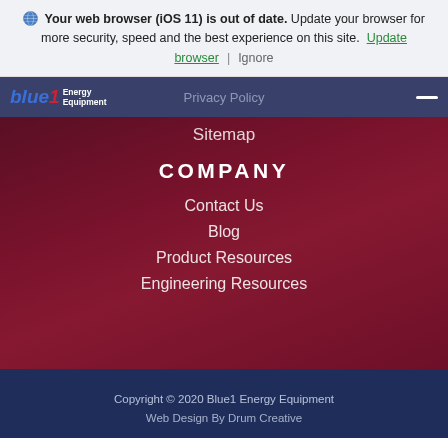Your web browser (iOS 11) is out of date. Update your browser for more security, speed and the best experience on this site. Update browser | Ignore
Blue1 Energy Equipment | Privacy Policy
Sitemap
COMPANY
Contact Us
Blog
Product Resources
Engineering Resources
Copyright © 2020 Blue1 Energy Equipment
Web Design By Drum Creative